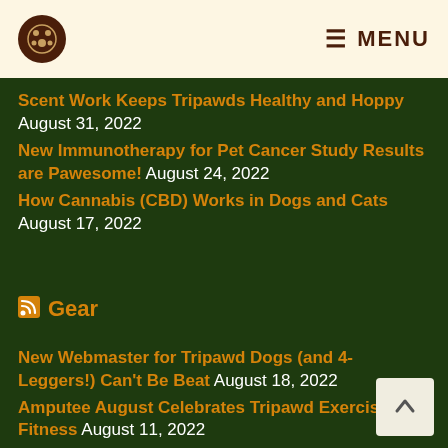MENU
Scent Work Keeps Tripawds Healthy and Hoppy August 31, 2022
New Immunotherapy for Pet Cancer Study Results are Pawesome! August 24, 2022
How Cannabis (CBD) Works in Dogs and Cats August 17, 2022
Gear
New Webmaster for Tripawd Dogs (and 4-Leggers!) Can't Be Beat August 18, 2022
Amputee August Celebrates Tripawd Exercise and Fitness August 11, 2022
3 Facts About Longer Walks and Tripawd Dogs